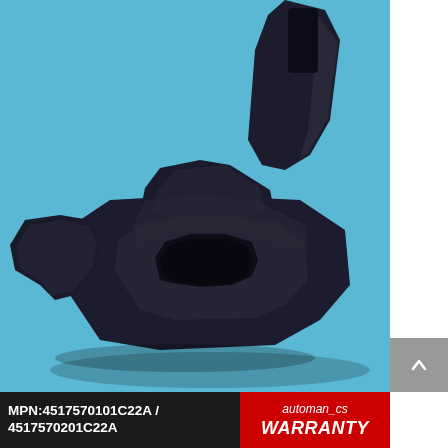[Figure (photo): A black plastic automotive part (rotor/distributor cap socket adapter) photographed on a light blue background. The part has an octagonal socket at the base, a central cup/hollow, and a narrow rectangular post extending upward at an angle.]
MPN:4517570101C22A / 4517570201C22A
automan_cs WARRANTY